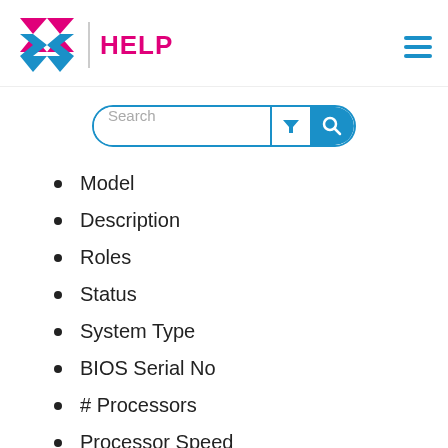HELP
[Figure (screenshot): Search bar with filter and search icons]
Model
Description
Roles
Status
System Type
BIOS Serial No
# Processors
Processor Speed
Chassis Type